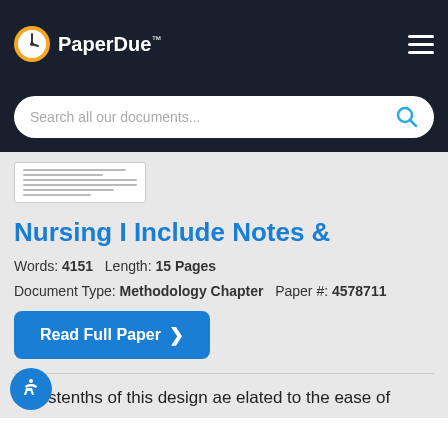PaperDue™
[Figure (screenshot): Search bar with placeholder text 'Search all our documents...' and a blue search icon]
[Figure (screenshot): Thumbnail preview of a document page with small text lines]
Nursing I Include Notes &
Words: 4151   Length: 15 Pages
Document Type: Methodology Chapter   Paper #: 4578711
Read Full Paper ❯
The stenths of this design ae elated to the ease of